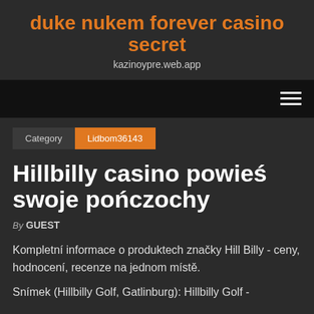duke nukem forever casino secret
kazinoypre.web.app
[Figure (other): Navigation bar with hamburger menu icon on dark background]
Category   Lidbom36143
Hillbilly casino powieś swoje pończochy
By GUEST
Kompletní informace o produktech značky Hill Billy - ceny, hodnocení, recenze na jednom místě.
Snímek (Hillbilly Golf, Gatlinburg): Hillbilly Golf -